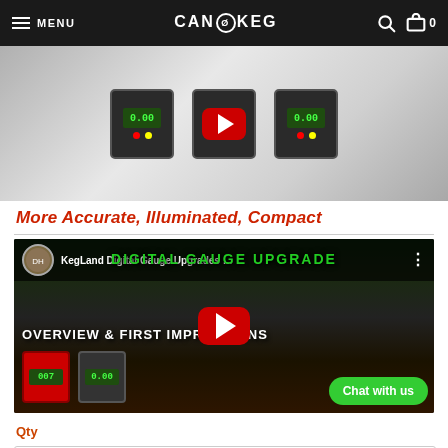MENU | CAN KEG | 0
[Figure (photo): Product photo showing KegLand digital pressure gauges with illuminated green LCD displays, mounted on white/metal fittings, with a red YouTube play button overlay visible]
More Accurate, Illuminated, Compact
[Figure (screenshot): YouTube video thumbnail for 'KegLand Digital Gauge Upgrades ...' by David Heath Homebrew. Shows overview & first impressions with multiple digital gauges on red and silver fittings. Has YouTube play button in center and animated character on right. Green Chat with us button visible bottom right.]
Qty